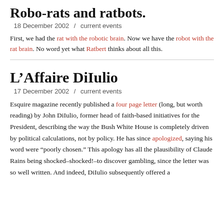Robo-rats and ratbots.
18 December 2002  /  current events
First, we had the rat with the robotic brain. Now we have the robot with the rat brain. No word yet what Ratbert thinks about all this.
L’Affaire DiIulio
17 December 2002  /  current events
Esquire magazine recently published a four page letter (long, but worth reading) by John DiIulio, former head of faith-based initiatives for the President, describing the way the Bush White House is completely driven by political calculations, not by policy. He has since apologized, saying his word were “poorly chosen.” This apology has all the plausibility of Claude Rains being shocked–shocked!–to discover gambling, since the letter was so well written. And indeed, DiIulio subsequently offered a